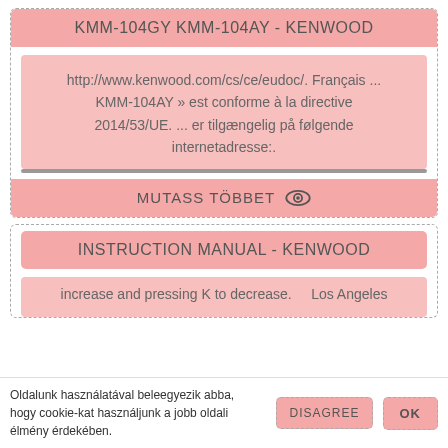KMM-104GY KMM-104AY - KENWOOD
http://www.kenwood.com/cs/ce/eudoc/. Français ... KMM-104AY » est conforme à la directive 2014/53/UE. ... er tilgængelig på følgende internetadresse:.
MUTASS TÖBBET
INSTRUCTION MANUAL - KENWOOD
increase and pressing K to decrease.   Los Angeles
Oldalunk használatával beleegyezik abba, hogy cookie-kat használjunk a jobb oldali élmény érdekében.
DISAGREE
OK